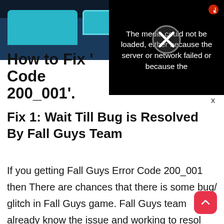[Figure (screenshot): Top image banner showing a dark navy background with teal/cyan rectangular shapes, partially visible. A black media error popup overlays the top-right portion showing an X icon and the message: 'The media could not be loaded, either because the server or network failed or because the']
How to Fix 'Error Code 200_001'.
Fix 1: Wait Till Bug is Resolved By Fall Guys Team
If you getting Fall Guys Error Code 200_001 then There are chances that there is some bug/ glitch in Fall Guys game. Fall Guys team already know the issue and working to resol this.